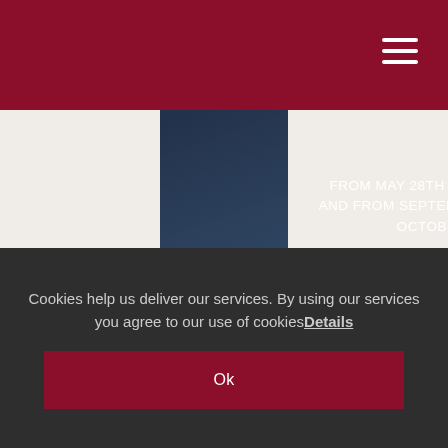[Figure (photo): Mountain landscape with green hills and dramatic sky, used as background image for Summer Explorer Week 2022 promotional banner]
FROM MAY 28TH TO AUGUST 28TH AND FROM SEPTEMBER 4TH TO 29TH OCTOBER 2022
SUMMER EXPLORER WEEK 2022
7 NIGHTS WITH HALFBOARD +
Cookies help us deliver our services. By using our services you agree to our use of cookies Details
Ok